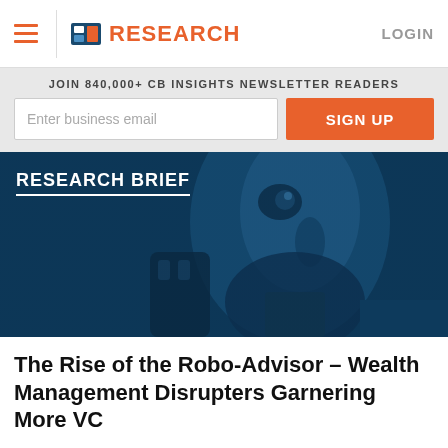CB Insights RESEARCH — LOGIN
JOIN 840,000+ CB INSIGHTS NEWSLETTER READERS
Enter business email — SIGN UP
[Figure (photo): Robot/AI humanoid face with blue tint overlay, labeled RESEARCH BRIEF]
The Rise of the Robo-Advisor – Wealth Management Disrupters Garnering More VC
February 18, 2015